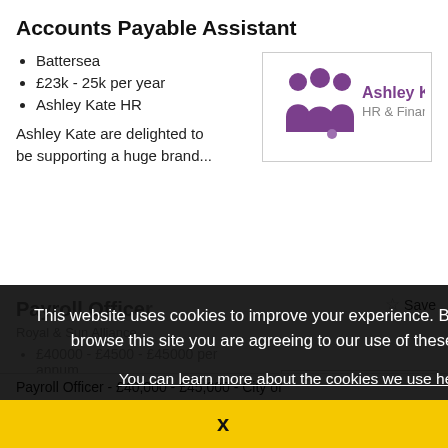Accounts Payable Assistant
Battersea
£23k - 25k per year
Ashley Kate HR
[Figure (logo): Ashley Kate HR & Finance logo with purple figures icon and bold purple text]
Ashley Kate are delighted to be supporting a huge brand...
This website uses cookies to improve your experience. By continuing to browse this site you are agreeing to our use of these cookies.
You can learn more about the cookies we use here.
Payroll Office
£40000 - £450 annum
frazer jones
Payroll Officer - £40,000 - £45,000 - City of